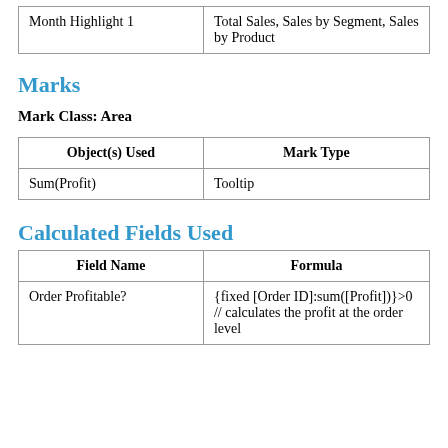|  |  |
| --- | --- |
| Month Highlight 1 | Total Sales, Sales by Segment, Sales by Product |
Marks
Mark Class: Area
| Object(s) Used | Mark Type |
| --- | --- |
| Sum(Profit) | Tooltip |
Calculated Fields Used
| Field Name | Formula |
| --- | --- |
| Order Profitable? | {fixed [Order ID]:sum([Profit])}>0 // calculates the profit at the order level |